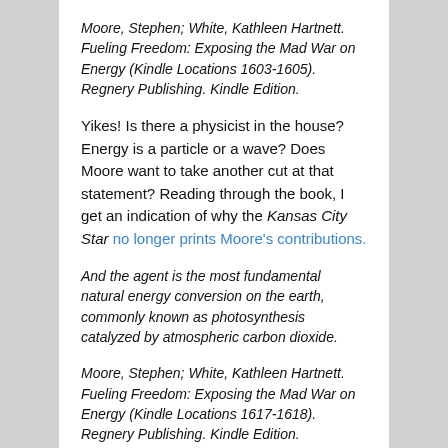Moore, Stephen; White, Kathleen Hartnett. Fueling Freedom: Exposing the Mad War on Energy (Kindle Locations 1603-1605). Regnery Publishing. Kindle Edition.
Yikes! Is there a physicist in the house? Energy is a particle or a wave? Does Moore want to take another cut at that statement? Reading through the book, I get an indication of why the Kansas City Star no longer prints Moore's contributions.
And the agent is the most fundamental natural energy conversion on the earth, commonly known as photosynthesis catalyzed by atmospheric carbon dioxide.
Moore, Stephen; White, Kathleen Hartnett. Fueling Freedom: Exposing the Mad War on Energy (Kindle Locations 1617-1618). Regnery Publishing. Kindle Edition.
Now we need help from a chemistry major. Strictly speaking, carbon dioxide does not catalyze